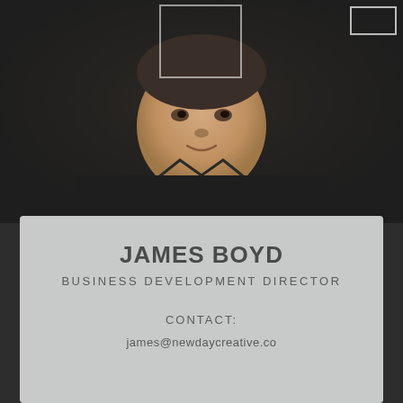[Figure (photo): Professional headshot of James Boyd, a man wearing a black long-sleeve polo shirt against a dark background. A face detection box overlay is visible near the top of the image, and a smaller rectangle box appears in the top right corner.]
JAMES BOYD
BUSINESS DEVELOPMENT DIRECTOR
CONTACT:
james@newdaycreative.co